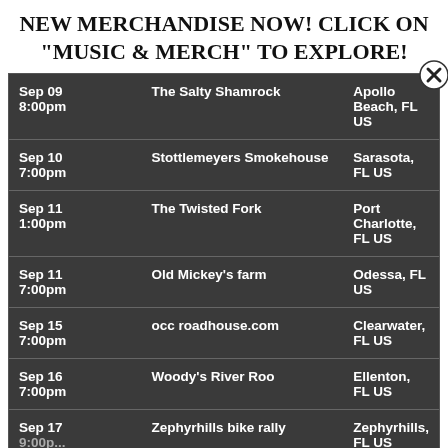NEW MERCHANDISE NOW! CLICK ON "MUSIC & MERCH" TO EXPLORE!
| Date/Time | Venue | Location |
| --- | --- | --- |
| Sep 09
8:00pm | The Salty Shamrock | Apollo Beach, FL US |
| Sep 10
7:00pm | Stottlemeyers Smokehouse | Sarasota, FL US |
| Sep 11
1:00pm | The Twisted Fork | Port Charlotte, FL US |
| Sep 11
7:00pm | Old Mickey's farm | Odessa, FL US |
| Sep 15
7:00pm | occ roadhouse.com | Clearwater, FL US |
| Sep 16
7:00pm | Woody's River Roo | Ellenton, FL US |
| Sep 17
9:00pm | Zephyrhills bike rally | Zephyrhills, FL US |